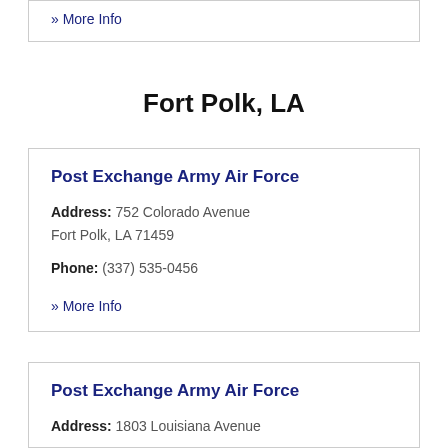» More Info
Fort Polk, LA
Post Exchange Army Air Force
Address: 752 Colorado Avenue
Fort Polk, LA 71459
Phone: (337) 535-0456
» More Info
Post Exchange Army Air Force
Address: 1803 Louisiana Avenue